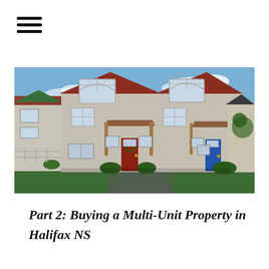[Figure (other): Hamburger menu icon with three horizontal lines]
[Figure (photo): Exterior photo of a two-storey multi-unit residential property with beige siding, dark red roof, arched windows on upper floor, red front door on left unit and blue door on right unit, green lawn in foreground, blue sky background — a duplex or semi-detached home in Halifax, NS]
Part 2: Buying a Multi-Unit Property in Halifax NS